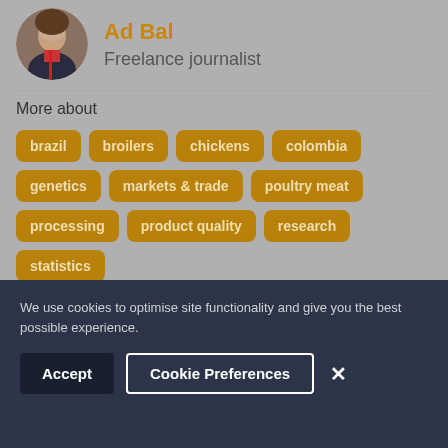[Figure (photo): Circular avatar photo of a man in a suit with red tie]
Ad Bal
Freelance journalist
More about
brazil
broilers
chickens
colombia
genetics
markets & trade
poultry meat
processing
product quality
research
statistics
We use cookies to optimise site functionality and give you the best possible experience.
Accept
Cookie Preferences